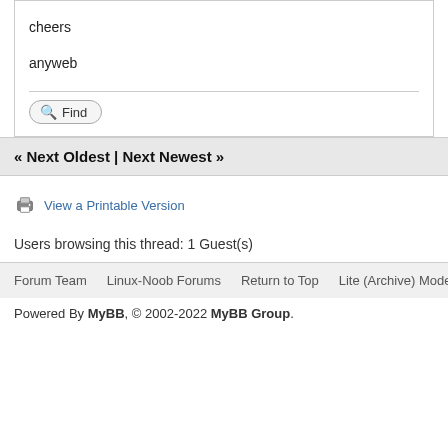cheers
anyweb
Find
« Next Oldest | Next Newest »
View a Printable Version
Users browsing this thread: 1 Guest(s)
Forum Team  Linux-Noob Forums  Return to Top  Lite (Archive) Mode
Powered By MyBB, © 2002-2022 MyBB Group.